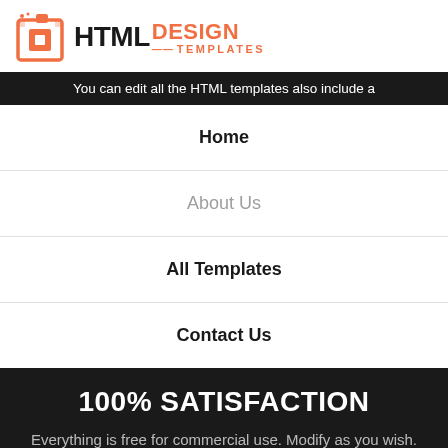[Figure (logo): HTML Design Templates logo with orange gift box icon and HTML in bold black, DESIGN in orange, TEMPLATES in orange smaller text]
You can edit all the HTML templates also include a
Home
About Us
All Templates
Contact Us
100% SATISFACTION
Everything is free for commercial use. Modify as you wish. Leave the backlink in your footer to help spread the word about this amazing project.